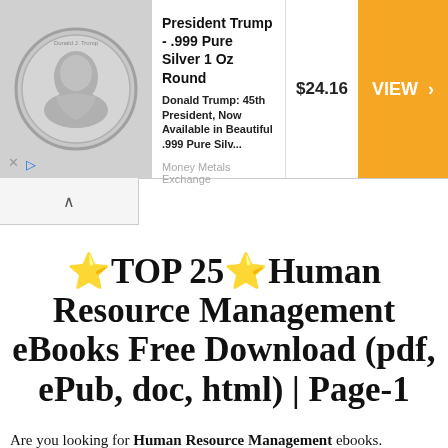[Figure (screenshot): Advertisement banner for President Trump .999 Pure Silver 1 Oz Round coin from Money Metals Exchange, priced at $24.16, with a VIEW button.]
⭐TOP 25⭐Human Resource Management eBooks Free Download (pdf, ePub, doc, html) | Page-1
Are you looking for Human Resource Management ebooks.